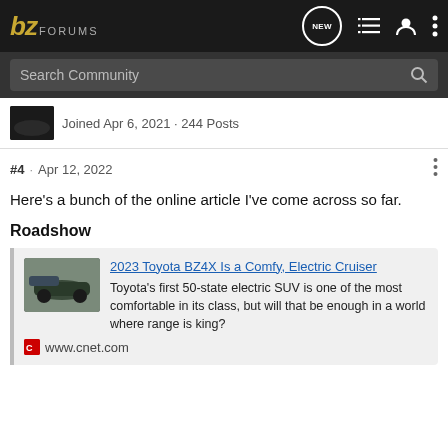bz FORUMS
Search Community
Joined Apr 6, 2021 · 244 Posts
#4 · Apr 12, 2022
Here's a bunch of the online article I've come across so far.
Roadshow
2023 Toyota BZ4X Is a Comfy, Electric Cruiser
Toyota's first 50-state electric SUV is one of the most comfortable in its class, but will that be enough in a world where range is king?
www.cnet.com